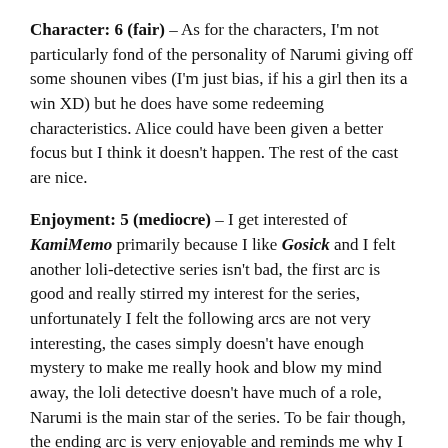Character: 6 (fair) – As for the characters, I'm not particularly fond of the personality of Narumi giving off some shounen vibes (I'm just bias, if his a girl then its a win XD) but he does have some redeeming characteristics. Alice could have been given a better focus but I think it doesn't happen. The rest of the cast are nice.
Enjoyment: 5 (mediocre) – I get interested of KamiMemo primarily because I like Gosick and I felt another loli-detective series isn't bad, the first arc is good and really stirred my interest for the series, unfortunately I felt the following arcs are not very interesting, the cases simply doesn't have enough mystery to make me really hook and blow my mind away, the loli detective doesn't have much of a role, Narumi is the main star of the series. To be fair though, the ending arc is very enjoyable and reminds me why I watch the series in the first place. I wouldn't mind a second season of the series, but please I want ALICE the star of the show.
Overall: 7 (good) – Sum everything up, KamiMemo is a fairly good series that I enjoyed on the most part. Particularly very